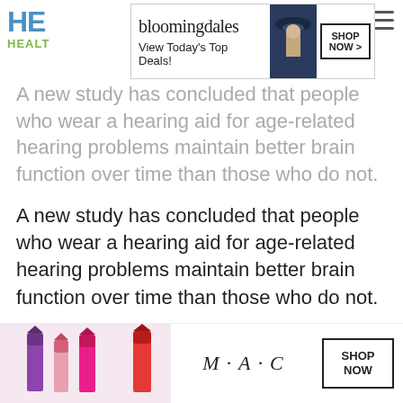HE HEALTH
[Figure (other): Bloomingdale's advertisement banner: 'View Today's Top Deals!' with a woman in a hat and SHOP NOW button]
A new study has concluded that people who wear a hearing aid for age-related hearing problems maintain better brain function over time than those who do not.
A new study has concluded that people who wear a hearing aid for age-related hearing problems maintain better brain function over time than those who do not.
It builds on important research in recent years pulled together by the Lancet Commission on Dementia Prevention, Intervention and Care, through which hearing loss emerged as an important risk factor for dementia. This research suggests that wearing a hearing [CLOSE] y mitiga
[Figure (other): MAC cosmetics advertisement banner with lipsticks and SHOP NOW button]